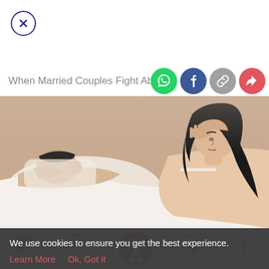[Figure (screenshot): Close/dismiss button - circle with X in dark blue/navy]
When Married Couples Fight About S
[Figure (photo): Photo of a couple in bed - woman looking distressed with hand on forehead, man sleeping in background]
[Figure (screenshot): Bottom navigation bar with Tools, Articles, Home (baby/pregnant icon in pink circle), Feed, Poll icons]
We use cookies to ensure you get the best experience.
Learn More   Ok, Got it